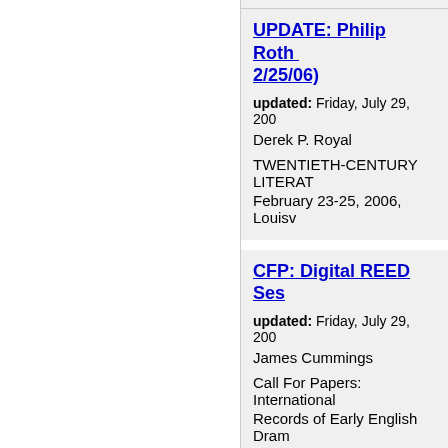UPDATE: Philip Roth ... 2/25/06)
updated: Friday, July 29, 200...
Derek P. Royal
TWENTIETH-CENTURY LITERAT...
February 23-25, 2006, Louisv...
CFP: Digital REED Ses...
updated: Friday, July 29, 200...
James Cummings
Call For Papers: International
Records of Early English Dram...
Abstract Submission Deadline...